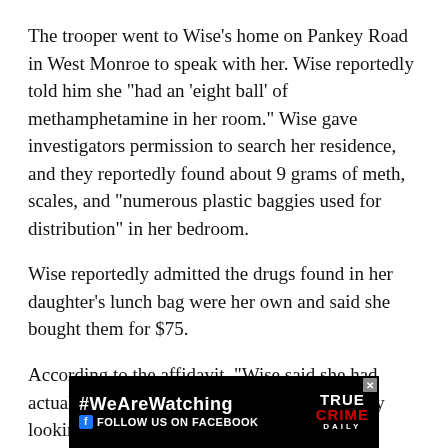The trooper went to Wise's home on Pankey Road in West Monroe to speak with her. Wise reportedly told him she "had an 'eight ball' of methamphetamine in her room." Wise gave investigators permission to search her residence, and they reportedly found about 9 grams of meth, scales, and "numerous plastic baggies used for distribution" in her bedroom.
Wise reportedly admitted the drugs found in her daughter's lunch bag were her own and said she bought them for $75.
According to the affidavit, "Wise said she had actually misplaced the drugs and was currently looking for them."
Wise was arrested in 2019 for possession of meth. She was booked in the Ouachita Correctional Center on charges of possession of drug paraphernalia, violation of uniform controlled dangerous substances law, controlled dangerous substanc[e] age, two counts o[f] tance
[Figure (other): Advertisement banner: #WeAreWatching FOLLOW US ON FACEBOOK with True Crime Daily logo]